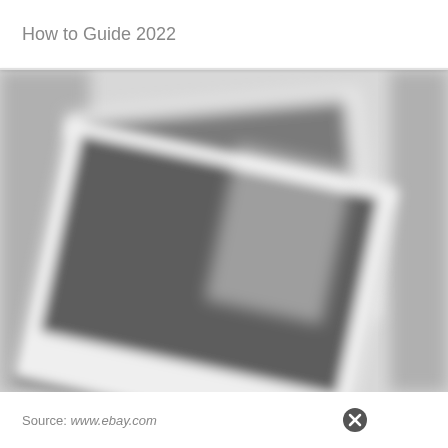How to Guide 2022
[Figure (photo): Blurred polaroid-style photograph showing a dark rectangular image (appears to be a screen or monitor) with a white border, tilted at an angle, with another similar item visible behind it. The image is heavily blurred and appears in grayscale tones.]
Source: www.ebay.com